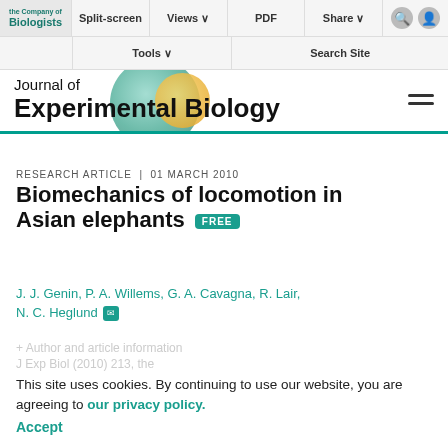Split-screen | Views | PDF | Share | Tools | Search Site
[Figure (logo): Journal of Experimental Biology logo with colorful spheres and The Company of Biologists branding]
Journal of Experimental Biology
RESEARCH ARTICLE | 01 MARCH 2010
Biomechanics of locomotion in Asian elephants FREE
J. J. Genin, P. A. Willems, G. A. Cavagna, R. Lair, N. C. Heglund
This site uses cookies. By continuing to use our website, you are agreeing to our privacy policy. Accept